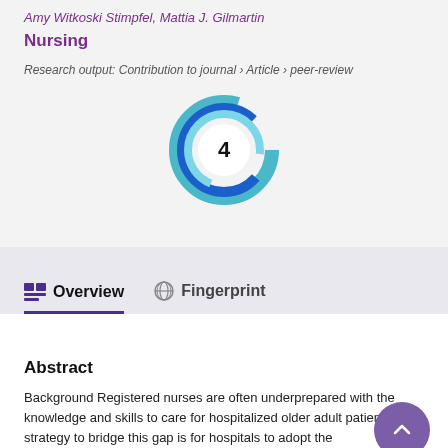Amy Witkoski Stimpfel, Mattia J. Gilmartin
Nursing
Research output: Contribution to journal › Article › peer-review
[Figure (other): Altmetric badge showing score of 4, displayed as a circular logo with blue swirl design and white center circle containing the number 4]
Overview
Fingerprint
Abstract
Background Registered nurses are often underprepared with the knowledge and skills to care for hospitalized older adult patients. One strategy to bridge this gap is for hospitals to adopt the